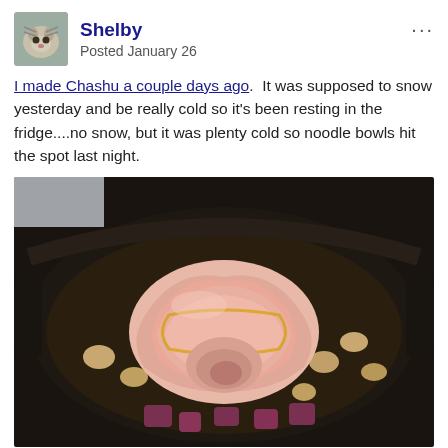Shelby
Posted January 26
I made Chashu a couple days ago. It was supposed to snow yesterday and be really cold so it's been resting in the fridge....no snow, but it was plenty cold so noodle bowls hit the spot last night.
[Figure (photo): A rolled pork belly (chashu) tied with rubber bands, braising in a dark liquid with garlic cloves and red/purple vegetable pieces in a cast iron skillet]